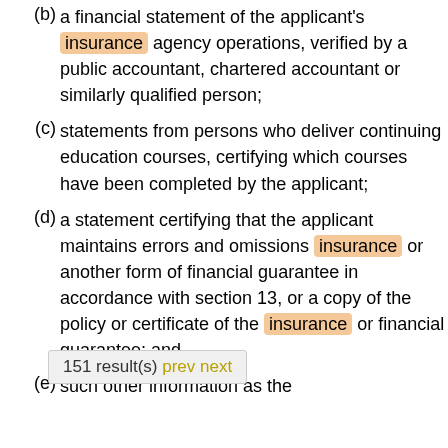(b) a financial statement of the applicant's insurance agency operations, verified by a public accountant, chartered accountant or similarly qualified person;
(c) statements from persons who deliver continuing education courses, certifying which courses have been completed by the applicant;
(d) a statement certifying that the applicant maintains errors and omissions insurance or another form of financial guarantee in accordance with section 13, or a copy of the policy or certificate of the insurance or financial guarantee; and
(e) such other information as the
151 result(s) prev next